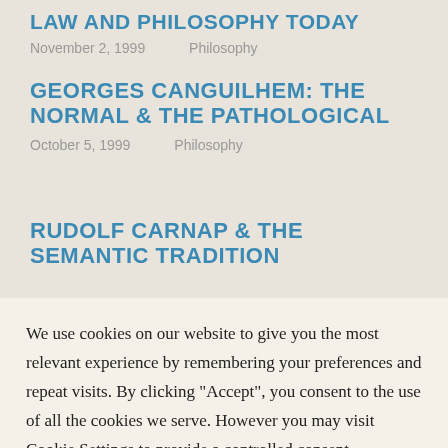LAW AND PHILOSOPHY TODAY
November 2, 1999    Philosophy
GEORGES CANGUILHEM: THE NORMAL & THE PATHOLOGICAL
October 5, 1999    Philosophy
RUDOLF CARNAP & THE SEMANTIC TRADITION
We use cookies on our website to give you the most relevant experience by remembering your preferences and repeat visits. By clicking “Accept”, you consent to the use of all the cookies we serve. However you may visit Cookie Settings to provide a controlled consent.
Cookie settings    ACCEPT